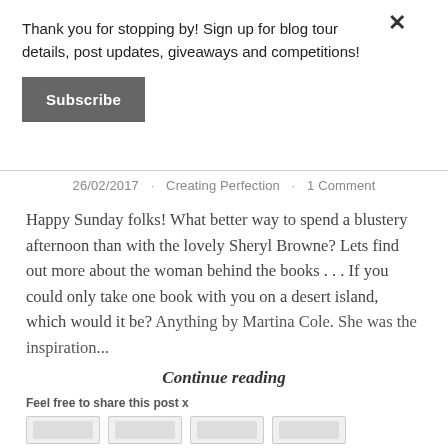Thank you for stopping by! Sign up for blog tour details, post updates, giveaways and competitions!
Subscribe
26/02/2017 · Creating Perfection · 1 Comment
Happy Sunday folks! What better way to spend a blustery afternoon than with the lovely Sheryl Browne? Lets find out more about the woman behind the books . . . If you could only take one book with you on a desert island, which would it be? Anything by Martina Cole. She was the inspiration...
Continue reading
Feel free to share this post x